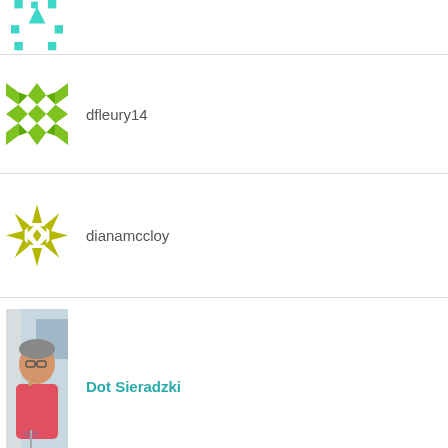[Figure (illustration): Teal/turquoise geometric quilt-pattern avatar (partially visible at top)]
[Figure (illustration): Green geometric X/star quilt-pattern avatar for user dfleury14]
dfleury14
[Figure (illustration): Olive/yellow-green snowflake quilt-pattern avatar for user dianamccloy]
dianamccloy
[Figure (photo): Photo of an older woman with glasses wearing a pink shirt, holding a wine glass, outside near a building - profile photo for Dot Sieradzki]
Dot Sieradzki